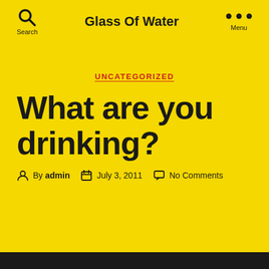Glass Of Water
UNCATEGORIZED
What are you drinking?
By admin   July 3, 2011   No Comments